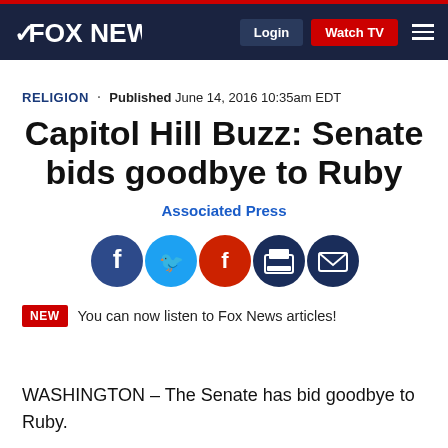FOX NEWS
RELIGION · Published June 14, 2016 10:35am EDT
Capitol Hill Buzz: Senate bids goodbye to Ruby
Associated Press
[Figure (other): Social sharing icons: Facebook, Twitter, Flipboard, Print, Email]
NEW You can now listen to Fox News articles!
WASHINGTON – The Senate has bid goodbye to Ruby.